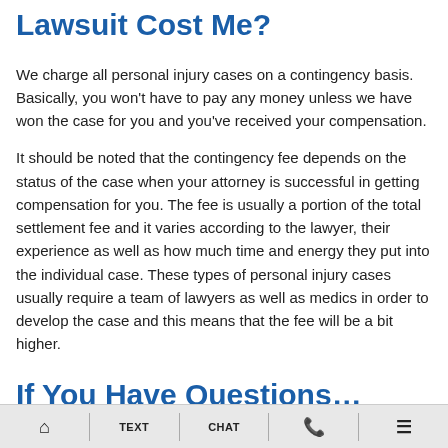Lawsuit Cost Me?
We charge all personal injury cases on a contingency basis. Basically, you won't have to pay any money unless we have won the case for you and you've received your compensation.
It should be noted that the contingency fee depends on the status of the case when your attorney is successful in getting compensation for you. The fee is usually a portion of the total settlement fee and it varies according to the lawyer, their experience as well as how much time and energy they put into the individual case. These types of personal injury cases usually require a team of lawyers as well as medics in order to develop the case and this means that the fee will be a bit higher.
If You Have Questions…
HOME | TEXT | CHAT | CALL | MENU